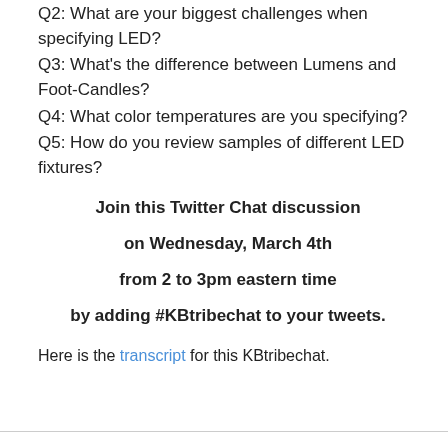Q2: What are your biggest challenges when specifying LED?
Q3: What's the difference between Lumens and Foot-Candles?
Q4: What color temperatures are you specifying?
Q5: How do you review samples of different LED fixtures?
Join this Twitter Chat discussion
on Wednesday, March 4th
from 2 to 3pm eastern time
by adding #KBtribechat to your tweets.
Here is the transcript for this KBtribechat.